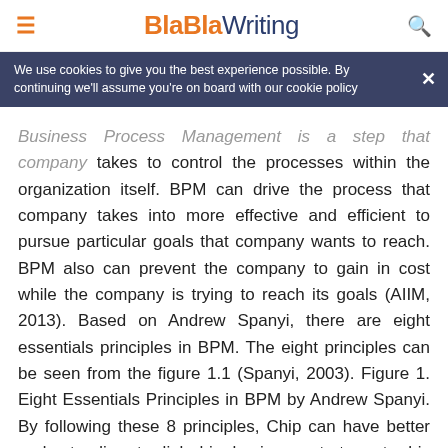BlaBlaWriting
We use cookies to give you the best experience possible. By continuing we'll assume you're on board with our cookie policy
Business Process Management is a step that company takes to control the processes within the organization itself. BPM can drive the process that company takes into more effective and efficient to pursue particular goals that company wants to reach. BPM also can prevent the company to gain in cost while the company is trying to reach its goals (AIIM, 2013). Based on Andrew Spanyi, there are eight essentials principles in BPM. The eight principles can be seen from the figure 1.1 (Spanyi, 2003). Figure 1. Eight Essentials Principles in BPM by Andrew Spanyi. By following these 8 principles, Chip can have better understanding to link his business strategy to his business processes in order to improve his current performance in every business processes to engage more